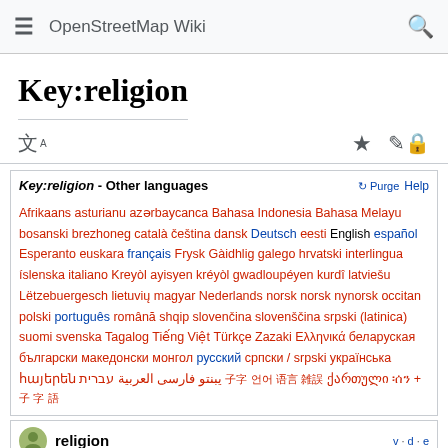OpenStreetMap Wiki
Key:religion
| Key:religion - Other languages | Purge | Help |
| --- | --- | --- |
| Afrikaans asturianu azərbaycanca Bahasa Indonesia Bahasa Melayu bosanski brezhoneg català čeština dansk Deutsch eesti English español Esperanto euskara français Frysk Gàidhlig galego hrvatski interlingua íslenska italiano Kreyòl ayisyen kréyòl gwadloupéyen kurdî latviešu Lëtzebuergesch lietuvių magyar Nederlands norsk norsk nynorsk occitan polski português română shqip slovenčina slovenščina srpski (latinica) suomi svenska Tagalog Tiếng Việt Türkçe Zazaki Ελληνικά беларуская български македонски монгол русский српски / srpski українська հայերեն يبنتو فارسی العربية עברית ‎ ‎ ‎ ‎ ‎ ‎ ‎ ‎ ‎ ‎ ‎ ‎ ‎ ‎ ‎ ‎ ‎ ‎ ‎ ‎ ‎ ‎ ‎ ‎ ‎ ‎ ‎ ქართული ፈትሃ + ‎ ‎ ‎ ‎ ‎ ‎ |  |  |
religion v · d · e